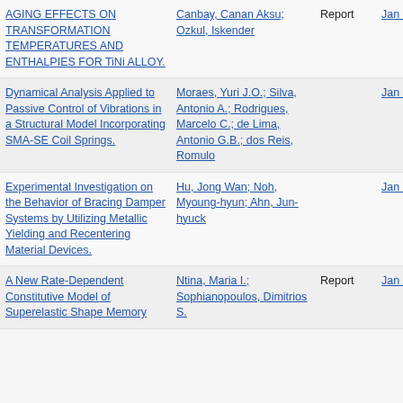| Title | Author | Type | Date | Num |
| --- | --- | --- | --- | --- |
| AGING EFFECTS ON TRANSFORMATION TEMPERATURES AND ENTHALPIES FOR TiNi ALLOY. | Canbay, Canan Aksu; Ozkul, Iskender | Report | Jan 1, 2018 | 17 |
| Dynamical Analysis Applied to Passive Control of Vibrations in a Structural Model Incorporating SMA-SE Coil Springs. | Moraes, Yuri J.O.; Silva, Antonio A.; Rodrigues, Marcelo C.; de Lima, Antonio G.B.; dos Reis, Romulo |  | Jan 1, 2018 | 75 |
| Experimental Investigation on the Behavior of Bracing Damper Systems by Utilizing Metallic Yielding and Recentering Material Devices. | Hu, Jong Wan; Noh, Myoung-hyun; Ahn, Jun-hyuck |  | Jan 1, 2018 | 54 |
| A New Rate-Dependent Constitutive Model of Superelastic Shape Memory | Ntina, Maria I.; Sophianopoulos, Dimitrios S. | Report | Jan 1, 2018 | 42 |